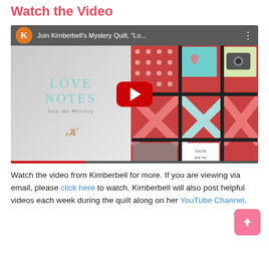Watch the Video
[Figure (screenshot): YouTube video thumbnail for Kimberbell's Mystery Quilt 'Love Notes' video, showing quilt pattern with X's and hearts in teal, coral, and red colors, with a YouTube play button overlay]
Watch the video from Kimberbell for more. If you are viewing via email, please click here to watch. Kimberbell will also post helpful videos each week during the quilt along on her YouTube Channel.